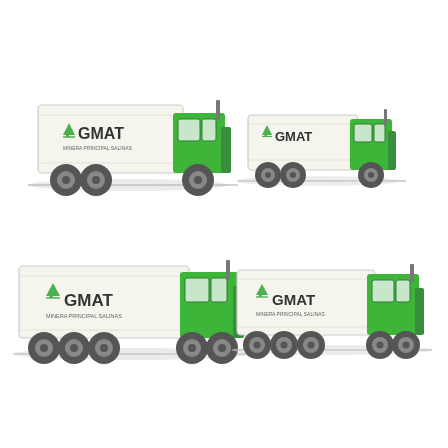[Figure (illustration): Four GMAT-branded green and white trucks arranged in a 2x2 grid. Top-left: a shorter truck with white cargo box. Top-right: a shorter truck with white cargo box (smaller). Bottom-left: a longer articulated truck with white cargo box. Bottom-right: a longer articulated truck with white cargo box (slightly different). All trucks have the GMAT logo (green leaf/chart icon + 'GMAT' text) on the white cargo container and are illustrated in a side-profile view facing right.]